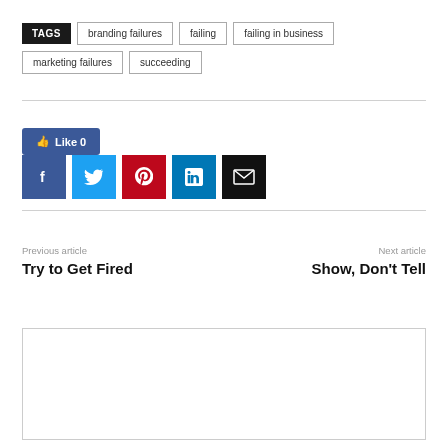TAGS  branding failures  failing  failing in business  marketing failures  succeeding
[Figure (screenshot): Facebook Like button showing Like 0]
[Figure (infographic): Social share buttons: Facebook, Twitter, Pinterest, LinkedIn, Email]
Previous article: Try to Get Fired
Next article: Show, Don't Tell
[Figure (other): Empty comment box area]